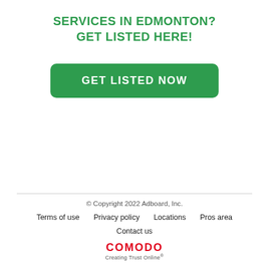SERVICES IN EDMONTON?
GET LISTED HERE!
[Figure (other): Green rounded rectangle button with white bold uppercase text: GET LISTED NOW]
© Copyright 2022 Adboard, Inc.
Terms of use   Privacy policy   Locations   Pros area
Contact us
COMODO Creating Trust Online®